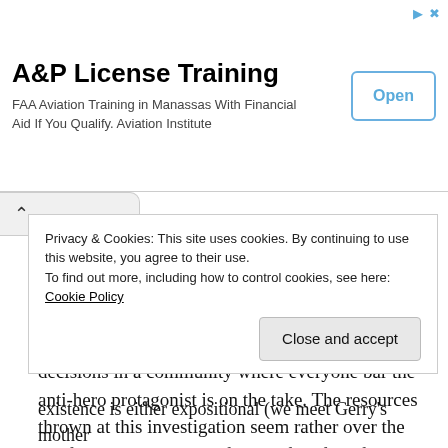[Figure (other): Advertisement banner for A&P License Training. Title: 'A&P License Training'. Subtitle: 'FAA Aviation Training in Manassas With Financial Aid If You Qualify. Aviation Institute'. Button: 'Open'.]
As crime thrillers go, although creditable, The Guard is rather predictable, formulaic and largely unspectacular, not least from the point of view of the plotting, with a small gang making illogical decisions in a community where everyone bar the anti-hero protagonist is on the take. The resources thrown at this investigation seem rather over the top for a rag-tag group of a handful of misfits, yet the authorities, too frequently act in such as
Privacy & Cookies: This site uses cookies. By continuing to use this website, you agree to their use.
To find out more, including how to control cookies, see here: Cookie Policy
[Close and accept button]
existence is either expositional (we meet Gerry's mother